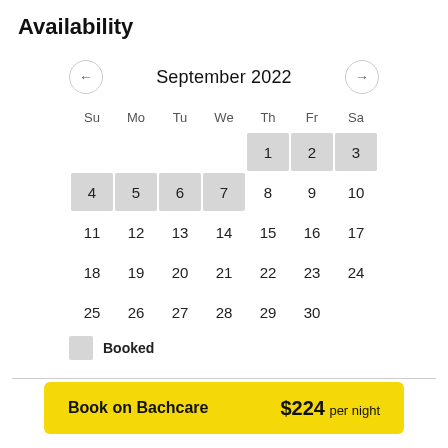Availability
[Figure (other): Calendar showing September 2022 with navigation arrows. Booked dates (greyed out): 1, 2, 3, 4, 5, 6, 7. Available dates: 8-30 (except no date for days beyond 30). Legend shows 'Booked' with grey swatch.]
Booked
Book on Bachcare  $224 per night